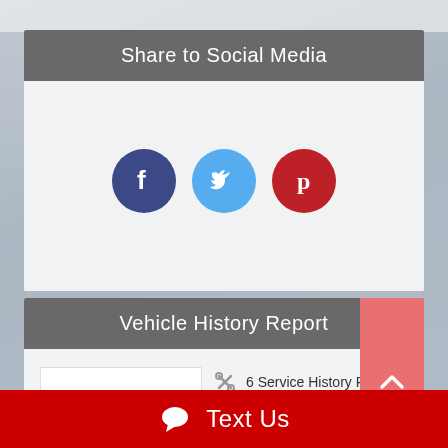Share to Social Media
[Figure (infographic): Three social media icon buttons: Facebook (dark blue circle with white f), Twitter (light blue circle with white bird), Pinterest (dark red circle with white P)]
Vehicle History Report
[Figure (infographic): CARFAX Show Me the CARFAX logo on white background, alongside two items: wrench icon with '6 Service History Records' and house/garage icon with 'Personal Vehicle']
6 Service History Records
Personal Vehicle
Text Us